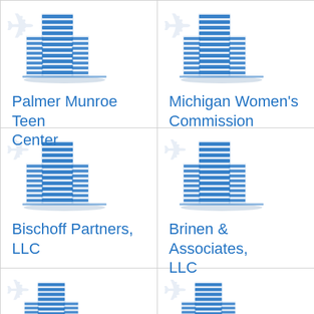[Figure (illustration): Blue building/skyscraper icon]
Palmer Munroe Teen Center
[Figure (illustration): Blue building/skyscraper icon]
Michigan Women's Commission
[Figure (illustration): Blue building/skyscraper icon]
Bischoff Partners, LLC
[Figure (illustration): Blue building/skyscraper icon]
Brinen & Associates, LLC
[Figure (illustration): Blue building/skyscraper icon (partial)]
[Figure (illustration): Blue building/skyscraper icon (partial)]